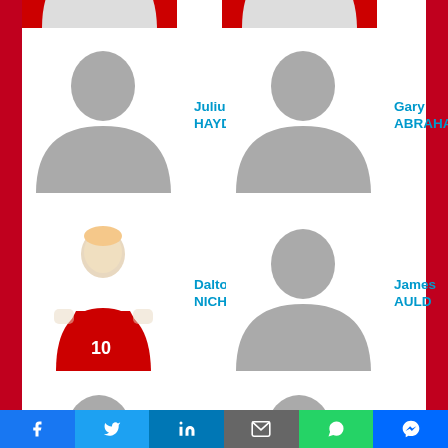[Figure (photo): Partial player photo at top left (cropped)]
[Figure (photo): Partial player photo at top right (cropped)]
[Figure (photo): Silhouette placeholder for Julius Hayden]
Julius HAYDEN
[Figure (photo): Silhouette placeholder for Gary Abraham]
Gary ABRAHAM
[Figure (photo): Dalton Nichols in red Perth basketball jersey #10]
Dalton NICHOLS
[Figure (photo): Silhouette placeholder for James Auld]
James AULD
[Figure (photo): Partial silhouette at bottom left (cropped)]
[Figure (photo): Partial silhouette at bottom right (cropped)]
[Figure (infographic): Social media sharing bar: Facebook, Twitter, LinkedIn, Email, WhatsApp, Messenger]